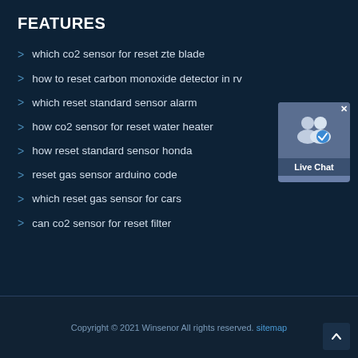FEATURES
which co2 sensor for reset zte blade
how to reset carbon monoxide detector in rv
which reset standard sensor alarm
how co2 sensor for reset water heater
how reset standard sensor honda
reset gas sensor arduino code
which reset gas sensor for cars
can co2 sensor for reset filter
[Figure (other): Live Chat widget button with two person icons and a checkmark badge]
Copyright © 2021 Winsenor All rights reserved. sitemap